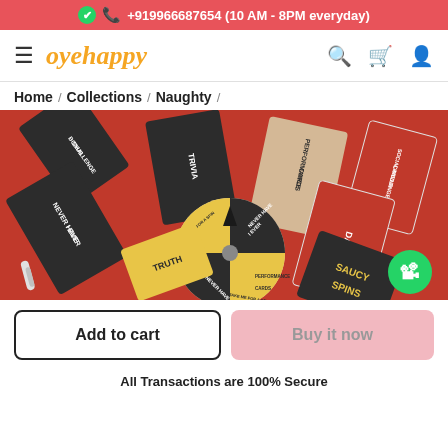+919966687654 (10 AM - 8PM everyday)
[Figure (logo): Oye Happy logo with hamburger menu icon]
Home / Collections / Naughty
[Figure (photo): Product photo of Saucy Spins game with playing cards on red background showing game categories like Trivia, Dare, Truth, Never Have I Ever, Performance Cards, Social Media Challenge, Bonus Challenge]
Add to cart
Buy it now
All Transactions are 100% Secure